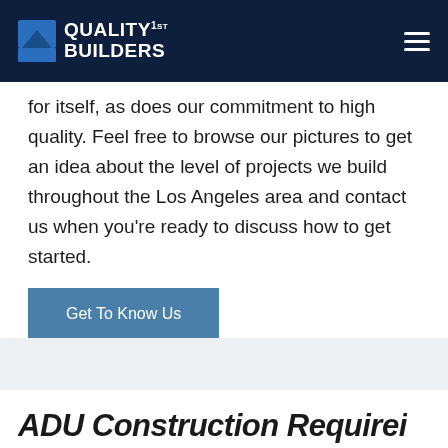QUALITY 1st BUILDERS
for itself, as does our commitment to high quality. Feel free to browse our pictures to get an idea about the level of projects we build throughout the Los Angeles area and contact us when you're ready to discuss how to get started.
Get To Know Us
ADU Construction Requirei...